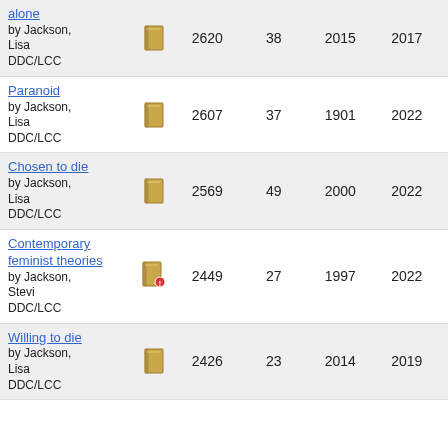| Title/Author | Icon | Holdings | Libs | From | To |
| --- | --- | --- | --- | --- | --- |
| alone
by Jackson, Lisa
DDC/LCC | book icon | 2620 | 38 | 2015 | 2017 |
| Paranoid
by Jackson, Lisa
DDC/LCC | book icon | 2607 | 37 | 1901 | 2022 |
| Chosen to die
by Jackson, Lisa
DDC/LCC | book icon | 2569 | 49 | 2000 | 2022 |
| Contemporary feminist theories
by Jackson, Stevi
DDC/LCC | book icon with badge | 2449 | 27 | 1997 | 2022 |
| Willing to die
by Jackson, Lisa
DDC/LCC | book icon | 2426 | 23 | 2014 | 2019 |